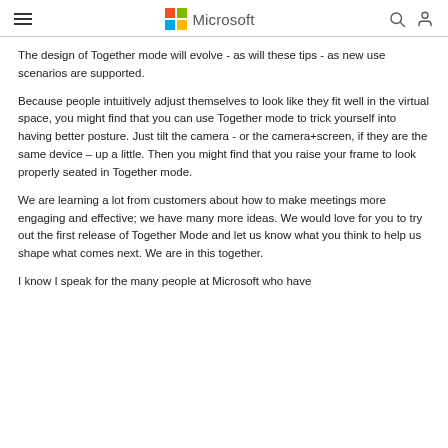Microsoft
The design of Together mode will evolve - as will these tips - as new use scenarios are supported.
Because people intuitively adjust themselves to look like they fit well in the virtual space, you might find that you can use Together mode to trick yourself into having better posture. Just tilt the camera - or the camera+screen, if they are the same device – up a little. Then you might find that you raise your frame to look properly seated in Together mode.
We are learning a lot from customers about how to make meetings more engaging and effective; we have many more ideas. We would love for you to try out the first release of Together Mode and let us know what you think to help us shape what comes next. We are in this together.
I know I speak for the many people at Microsoft who have